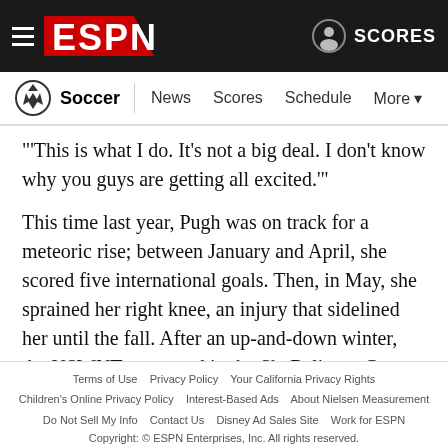ESPN Soccer - News Scores Schedule More
"'This is what I do. It's not a big deal. I don't know why you guys are getting all excited.'"
This time last year, Pugh was on track for a meteoric rise; between January and April, she scored five international goals. Then, in May, she sprained her right knee, an injury that sidelined her until the fall. After an up-and-down winter, the USWNT competed in the SheBelieves Cup, which began Feb. 27. Because Horan was out with an injury, Pugh, who typically plays up at wing, was pushed back to midfield. It was obvious that she wasn't entirely comfortable in her new role. Instead of
Terms of Use  Privacy Policy  Your California Privacy Rights  Children's Online Privacy Policy  Interest-Based Ads  About Nielsen Measurement  Do Not Sell My Info  Contact Us  Disney Ad Sales Site  Work for ESPN  Copyright: © ESPN Enterprises, Inc. All rights reserved.